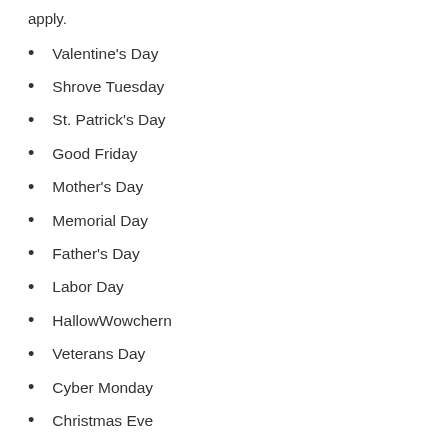apply.
Valentine's Day
Shrove Tuesday
St. Patrick's Day
Good Friday
Mother's Day
Memorial Day
Father's Day
Labor Day
HallowWowchern
Veterans Day
Cyber Monday
Christmas Eve
What time does Wowcher close?